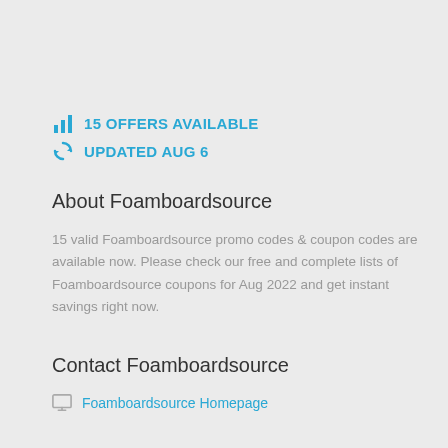15 OFFERS AVAILABLE
UPDATED AUG 6
About Foamboardsource
15 valid Foamboardsource promo codes & coupon codes are available now. Please check our free and complete lists of Foamboardsource coupons for Aug 2022 and get instant savings right now.
Contact Foamboardsource
Foamboardsource Homepage